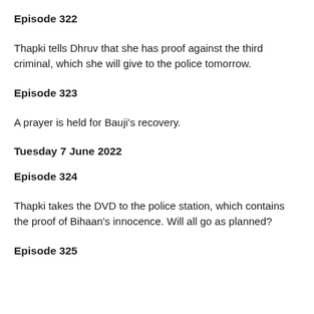Episode 322
Thapki tells Dhruv that she has proof against the third criminal, which she will give to the police tomorrow.
Episode 323
A prayer is held for Bauji's recovery.
Tuesday 7 June 2022
Episode 324
Thapki takes the DVD to the police station, which contains the proof of Bihaan's innocence. Will all go as planned?
Episode 325